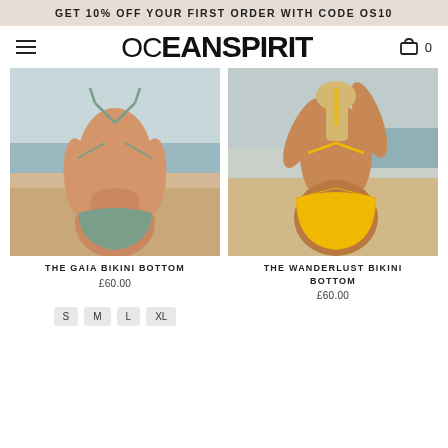GET 10% OFF YOUR FIRST ORDER WITH CODE OS10
OCEANSPIRIT
[Figure (photo): Back view of a woman wearing a sage green bikini bottom with triangle top straps on a beach]
[Figure (photo): Back view of a woman wearing a bright yellow high-waist bikini bottom with strappy top on a beach]
THE GAIA BIKINI BOTTOM
£60.00
THE WANDERLUST BIKINI BOTTOM
£60.00
S
M
L
XL